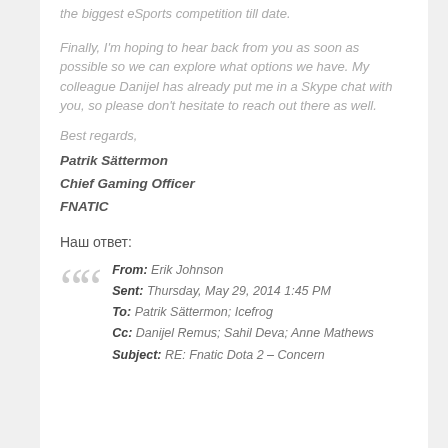the biggest eSports competition till date.
Finally, I'm hoping to hear back from you as soon as possible so we can explore what options we have. My colleague Danijel has already put me in a Skype chat with you, so please don't hesitate to reach out there as well.
Best regards,
Patrik Sättermon
Chief Gaming Officer
FNATIC
Наш ответ:
From: Erik Johnson
Sent: Thursday, May 29, 2014 1:45 PM
To: Patrik Sättermon; Icefrog
Cc: Danijel Remus; Sahil Deva; Anne Mathews
Subject: RE: Fnatic Dota 2 – Concern